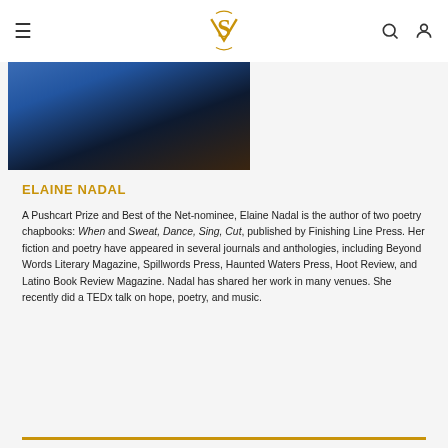S (logo navigation header)
[Figure (photo): Partial photo of Elaine Nadal wearing a blue jacket, dark hair, against a dark background]
ELAINE NADAL
A Pushcart Prize and Best of the Net-nominee, Elaine Nadal is the author of two poetry chapbooks: When and Sweat, Dance, Sing, Cut, published by Finishing Line Press. Her fiction and poetry have appeared in several journals and anthologies, including Beyond Words Literary Magazine, Spillwords Press, Haunted Waters Press, Hoot Review, and Latino Book Review Magazine. Nadal has shared her work in many venues. She recently did a TEDx talk on hope, poetry, and music.